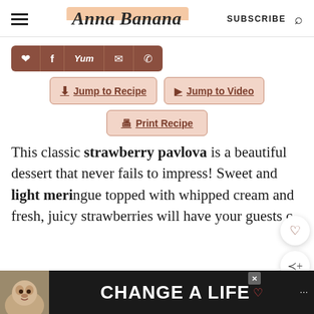Anna Banana | SUBSCRIBE
[Figure (screenshot): Social share buttons bar: Pinterest, Facebook, Yum, Email, WhatsApp icons on brown background]
[Figure (screenshot): Action buttons: Jump to Recipe, Jump to Video, Print Recipe]
This classic strawberry pavlova is a beautiful dessert that never fails to impress! Sweet and light meri[ngue] topped with whipped cream and fresh, juicy strawberries will have your guests c[lamoring for more].
[Figure (screenshot): Advertisement banner at bottom: CHANGE A LIFE with dog photo]